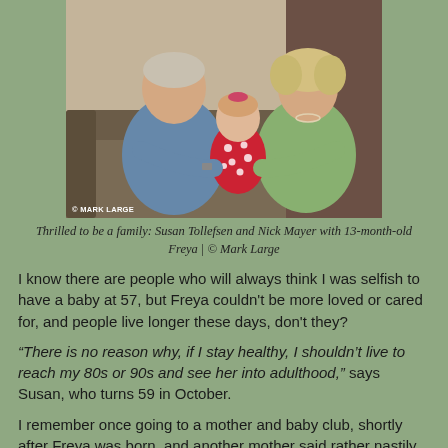[Figure (photo): A man and woman sitting on a couch with a baby dressed in red polka-dot outfit between them. Photo credit: © Mark Large]
Thrilled to be a family: Susan Tollefsen and Nick Mayer with 13-month-old Freya | © Mark Large
I know there are people who will always think I was selfish to have a baby at 57, but Freya couldn't be more loved or cared for, and people live longer these days, don't they?
“There is no reason why, if I stay healthy, I shouldn’t live to reach my 80s or 90s and see her into adulthood,” says Susan, who turns 59 in October.
I remember once going to a mother and baby club, shortly after Freya was born, and another mother said rather nastily to me: “Do you know when she’s 12 and starting secondary school, you’ll be 70?” says Susan.